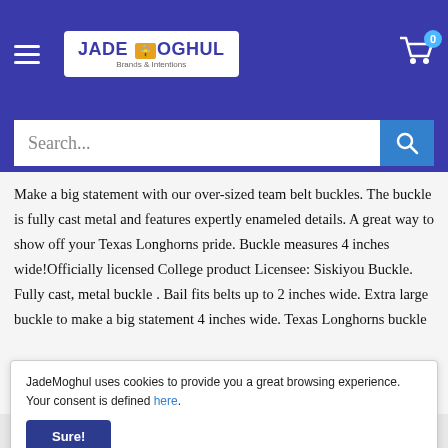[Figure (screenshot): JadeMoghul e-commerce website header with logo, hamburger menu, and cart icon showing 0 items on blue background]
[Figure (screenshot): Search bar with placeholder text 'Search...' and blue search button with magnifying glass icon]
Make a big statement with our over-sized team belt buckles. The buckle is fully cast metal and features expertly enameled details. A great way to show off your Texas Longhorns pride. Buckle measures 4 inches wide!Officially licensed College product Licensee: Siskiyou Buckle. Fully cast, metal buckle . Bail fits belts up to 2 inches wide. Extra large buckle to make a big statement 4 inches wide. Texas Longhorns buckle
JadeMoghul uses cookies to provide you a great browsing experience. Your consent is defined here.
[Figure (screenshot): Payment method icons: American Express, Apple Pay, Diners Club, Discover, Mastercard, PayPal, Venmo, Visa]